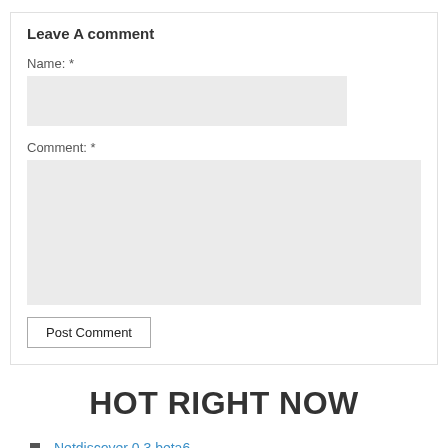Leave A comment
Name: *
Comment: *
Post Comment
HOT RIGHT NOW
Netdiscover 0.3 beta6
MongoDB 4.0.6